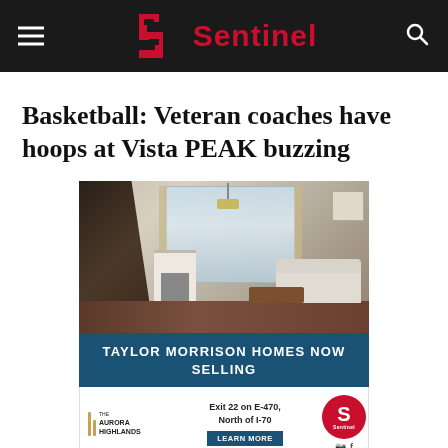Sentinel
Basketball: Veteran coaches have hoops at Vista PEAK buzzing
[Figure (photo): Interior home photo showing a living room with fireplace, large windows, staircase railing, and hardwood floors. Below the photo is a dark blue banner reading 'TAYLOR MORRISON HOMES NOW SELLING' and an ad footer with The Aurora Highlands logo, 'Exit 22 on E-470, North of I-70', a LEARN MORE button, a Sentinel circular logo, and social media icons.]